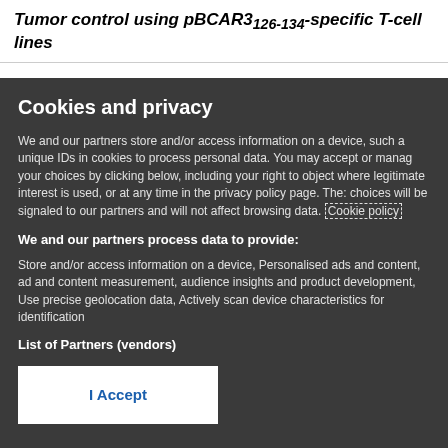Tumor control using pBCAR3 126-134 -specific T-cell lines
Cookies and privacy
We and our partners store and/or access information on a device, such as unique IDs in cookies to process personal data. You may accept or manage your choices by clicking below, including your right to object where legitimate interest is used, or at any time in the privacy policy page. These choices will be signaled to our partners and will not affect browsing data. Cookie policy
We and our partners process data to provide:
Store and/or access information on a device, Personalised ads and content, ad and content measurement, audience insights and product development, Use precise geolocation data, Actively scan device characteristics for identification
List of Partners (vendors)
I Accept